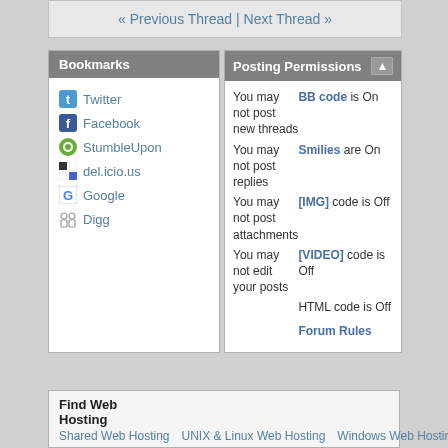« Previous Thread | Next Thread »
Bookmarks
Twitter
Facebook
StumbleUpon
del.icio.us
Google
Digg
Posting Permissions
|  |  |
| --- | --- |
| You may not post new threads | BB code is On |
| You may not post replies | Smilies are On |
| You may not post attachments | [IMG] code is Off |
| You may not edit your posts | [VIDEO] code is Off |
|  | HTML code is Off |
|  | Forum Rules |
Find Web Hosting
Shared Web Hosting   UNIX & Linux Web Hosting   Windows Web Hosting   Adult Web Hosting